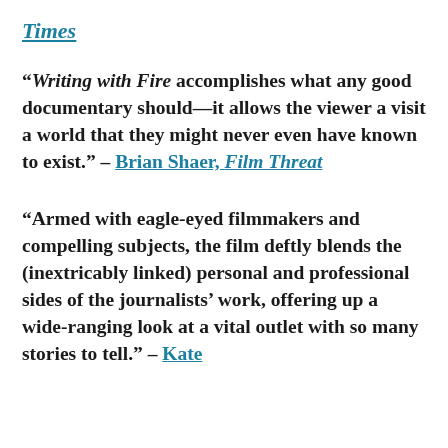Times
“Writing with Fire accomplishes what any good documentary should—it allows the viewer a visit a world that they might never even have known to exist.” – Brian Shaer, Film Threat
“Armed with eagle-eyed filmmakers and compelling subjects, the film deftly blends the (inextricably linked) personal and professional sides of the journalists’ work, offering up a wide-ranging look at a vital outlet with so many stories to tell.” – Kate